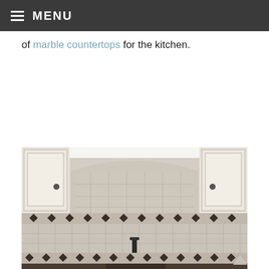≡ MENU
of marble countertops for the kitchen.
[Figure (photo): Kitchen backsplash with marble tile and decorative dark diamond border tiles, white cabinetry with dark knobs, and a dark faucet over a sink. Two rows of decorative diamond accent tiles frame a field of square marble tiles. Upper cabinets are white with raised-panel doors.]